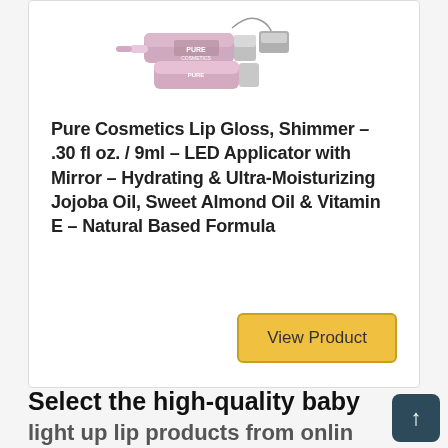[Figure (photo): Pink shimmer lip gloss product with LED applicator, showing two tubes/components in light pink/rose color with silver accents and PURE COSMETICS branding]
Pure Cosmetics Lip Gloss, Shimmer – .30 fl oz. / 9ml – LED Applicator with Mirror – Hydrating & Ultra-Moisturizing Jojoba Oil, Sweet Almond Oil & Vitamin E – Natural Based Formula
View Product
Select the high-quality baby light up lip products from online